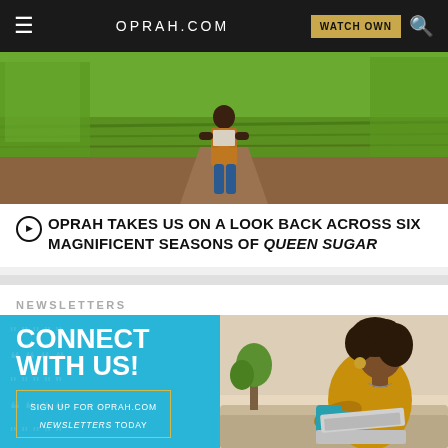OPRAH.COM
[Figure (photo): Person viewed from behind walking through green fields and garden rows]
OPRAH TAKES US ON A LOOK BACK ACROSS SIX MAGNIFICENT SEASONS OF QUEEN SUGAR
NEWSLETTERS
[Figure (infographic): Newsletter signup banner: left side cyan with CONNECT WITH US! text and SIGN UP FOR OPRAH.COM NEWSLETTERS TODAY button; right side shows woman with curly hair sitting on couch with laptop and blue mug]